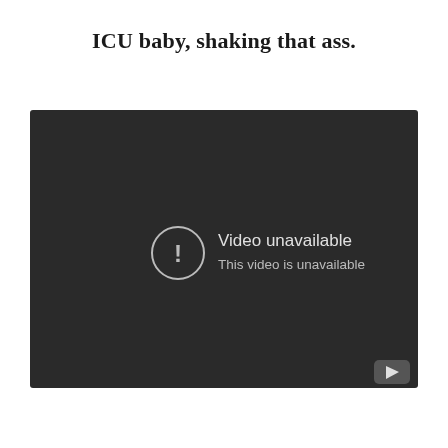ICU baby, shaking that ass.
[Figure (screenshot): A dark video player showing a 'Video unavailable' error message. In the center-left area there is a circle with an exclamation mark icon, followed by the text 'Video unavailable' in larger text and 'This video is unavailable' in smaller text below. In the bottom-right corner is a YouTube play button icon.]